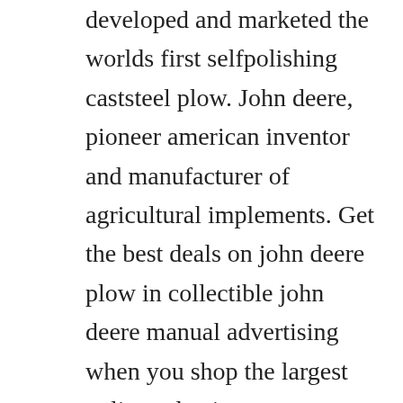developed and marketed the worlds first selfpolishing caststeel plow. John deere, pioneer american inventor and manufacturer of agricultural implements. Get the best deals on john deere plow in collectible john deere manual advertising when you shop the largest online selection at. Unfollow john deere snow plow to stop getting updates on your ebay feed. Just two years later, around 1600 plows had been produced and john deere began to expand its range of equipment, including the first rideon plow, the hawkeye riding cultivator, which relied on horses.